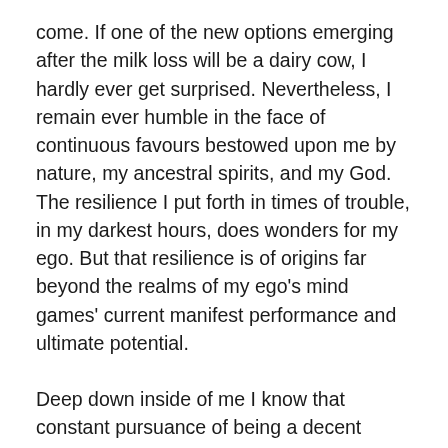come. If one of the new options emerging after the milk loss will be a dairy cow, I hardly ever get surprised. Nevertheless, I remain ever humble in the face of continuous favours bestowed upon me by nature, my ancestral spirits, and my God. The resilience I put forth in times of trouble, in my darkest hours, does wonders for my ego. But that resilience is of origins far beyond the realms of my ego's mind games' current manifest performance and ultimate potential.
Deep down inside of me I know that constant pursuance of being a decent human being is my inclination by default, much as are my human fallibilities. When I get a knock for my own failings, my inadequacies, I shall with dignity take the punishment I get. My sense of dignity gets even more profound in the face of injustice and malice directed upon my person. Always